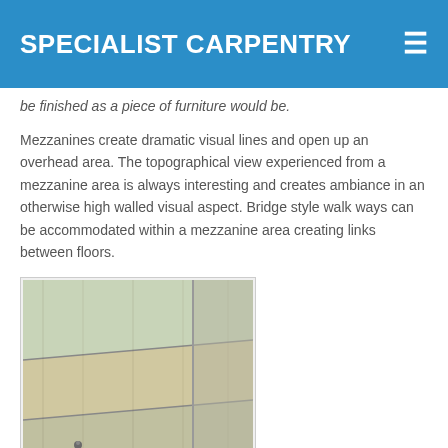SPECIALIST CARPENTRY
be finished as a piece of furniture would be.
Mezzanines create dramatic visual lines and open up an overhead area. The topographical view experienced from a mezzanine area is always interesting and creates ambiance in an otherwise high walled visual aspect. Bridge style walk ways can be accommodated within a mezzanine area creating links between floors.
[Figure (photo): Close-up photograph of wooden stair treads/steps showing light-colored timber boards with screws visible. Image has overlay text 'Click to open image!']
[Figure (photo): Partial view of outdoor wooden deck or balcony railing with white balusters and timber framing.]